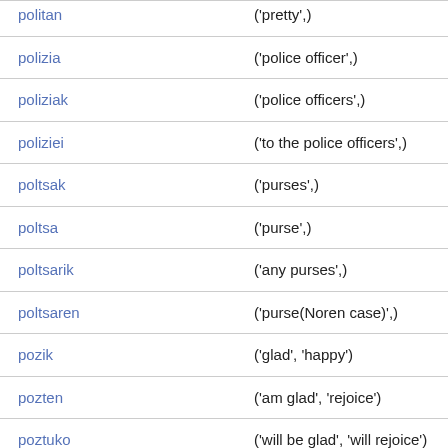| word | translation |
| --- | --- |
| politan | ('pretty',) |
| polizia | ('police officer',) |
| poliziak | ('police officers',) |
| poliziei | ('to the police officers',) |
| poltsak | ('purses',) |
| poltsa | ('purse',) |
| poltsarik | ('any purses',) |
| poltsaren | ('purse(Noren case)',) |
| pozik | ('glad', 'happy') |
| pozten | ('am glad', 'rejoice') |
| poztuko | ('will be glad', 'will rejoice') |
| prakak | ('trousors',) |